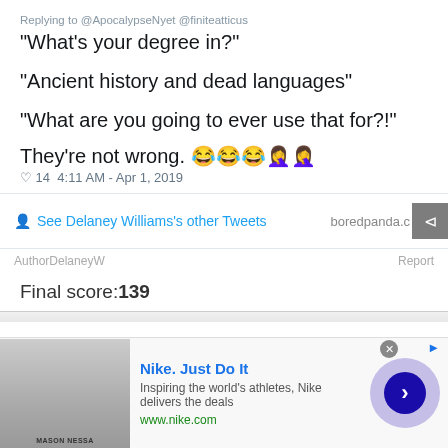Replying to @ApocalypseNyet @finiteatticus
“What’s your degree in?”

“Ancient history and dead languages”

“What are you going to ever use that for?!”

They’re not wrong. 😂😂😂🤦‍♀️🤦‍♀️
♡ 14  4:11 AM - Apr 1, 2019
See Delaney Williams's other Tweets
boredpanda.com
AuthorDelaneyW
Report
Final score:139
[Figure (screenshot): Nike advertisement banner with product image, 'Nike. Just Do It' headline, description text, www.nike.com URL, and a blue circular arrow button]